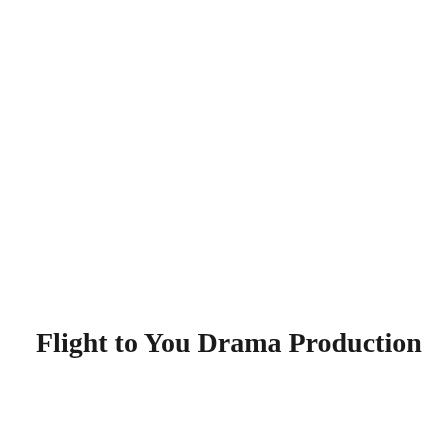Flight to You Drama Production